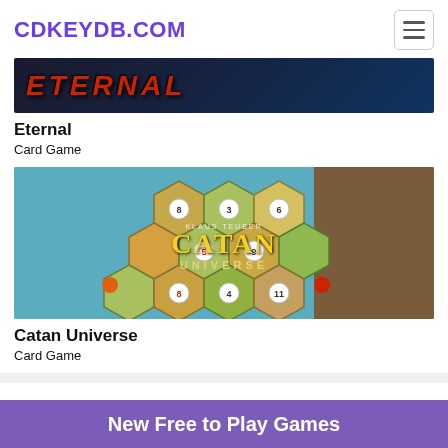CDKEYDB.COM
[Figure (screenshot): Eternal card game dark banner with stylized red text logo on dark blue background]
Eternal
Card Game
[Figure (screenshot): Catan Universe board game image showing hexagonal game tiles in blue, green, and tan colors with CATAN UNIVERSE logo]
Catan Universe
Card Game
New Free to Play Games